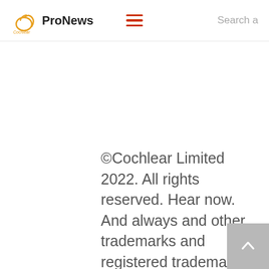Cochlear ProNews
©Cochlear Limited 2022. All rights reserved. Hear now. And always and other trademarks and registered trademarks are the property of Cochlear Limited